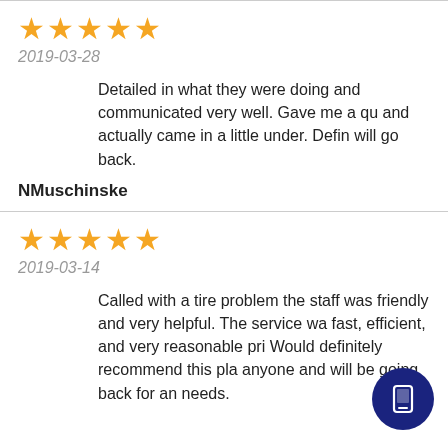[Figure (other): Five gold stars rating]
2019-03-28
Detailed in what they were doing and communicated very well. Gave me a qu and actually came in a little under. Defin will go back.
NMuschinske
[Figure (other): Five gold stars rating]
2019-03-14
Called with a tire problem the staff was friendly and very helpful. The service wa fast, efficient, and very reasonable pri Would definitely recommend this pla anyone and will be going back for an needs.
[Figure (other): Dark blue circular FAB button with phone/tablet icon]